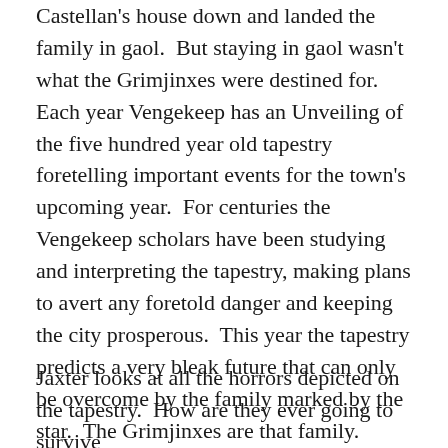Castellan's house down and landed the family in gaol.  But staying in gaol wasn't what the Grimjinxes were destined for.  Each year Vengekeep has an Unveiling of the five hundred year old tapestry foretelling important events for the town's upcoming year.  For centuries the Vengekeep scholars have been studying and interpreting the tapestry, making plans to avert any foretold danger and keeping the city prosperous.  This year the tapestry predicts a very bleak future that can only be overcome by the family marked by the star.  The Grimjinxes are that family.
Jaxter looks at all the horrors depicted on the tapestry.  How are they ever going to survive